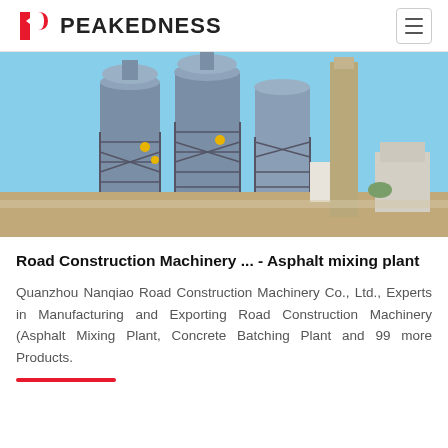PEAKEDNESS
[Figure (photo): Industrial cement silos and batching plant towers with metal scaffolding structures against a blue sky, used for road construction machinery.]
Road Construction Machinery ... - Asphalt mixing plant
Quanzhou Nanqiao Road Construction Machinery Co., Ltd., Experts in Manufacturing and Exporting Road Construction Machinery (Asphalt Mixing Plant, Concrete Batching Plant and 99 more Products.